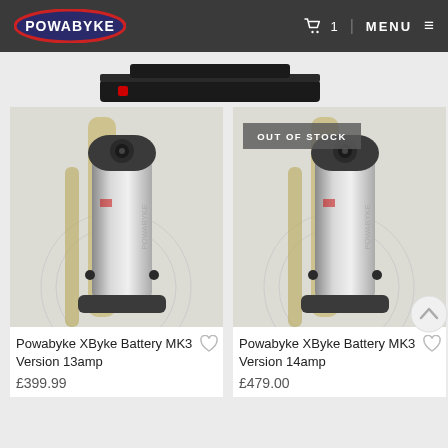Powabyke — MENU
[Figure (photo): Powabyke XByke Battery MK3 Version 13amp — photo of silver cylindrical battery mounted on electric bicycle frame]
[Figure (photo): Powabyke XByke Battery MK3 Version 14amp — photo of silver cylindrical battery mounted on electric bicycle frame, with OUT OF STOCK badge]
Powabyke XByke Battery MK3 Version 13amp
£399.99
Powabyke XByke Battery MK3 Version 14amp
£479.00